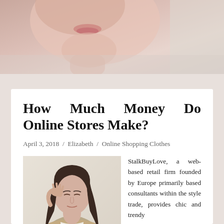[Figure (photo): Close-up of a woman's lower face and neck, pink/warm tones, blurred background]
How Much Money Do Online Stores Make?
April 3, 2018 / Elizabeth / Online Shopping Clothes
[Figure (photo): Young woman with long dark hair, wearing a beige/tan cardigan over a white top, hand raised to her face, standing against a light background]
StalkBuyLove, a web-based retail firm founded by Europe primarily based consultants within the style trade, provides chic and trendy